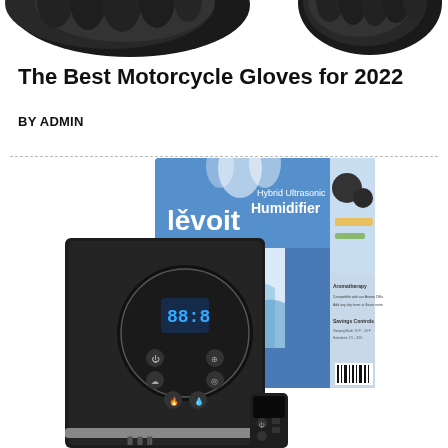[Figure (photo): Partial view of black motorcycle gloves at top of page — two gloves cropped at top edge]
The Best Motorcycle Gloves for 2022
BY ADMIN
[Figure (photo): Levoit Hybrid Ultrasonic Humidifier product photo showing the black humidifier unit alongside its retail box packaging which reads 'levoit Hybrid Ultrasonic Humidifier' and 'Soothing Relief'. The box also shows aromatherapy and remote control features. A small remote control is visible at the bottom right of the image.]